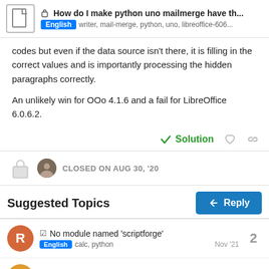How do I make python uno mailmerge have th...  English  writer, mail-merge, python, uno, libreoffice-606...
codes but even if the data source isn't there, it is filling in the correct values and is importantly processing the hidden paragraphs correctly.

An unlikely win for OOo 4.1.6 and a fail for LibreOffice 6.0.6.2.
✓ Solution
CLOSED ON AUG 30, '20
Suggested Topics
↩ Reply
☑ No module named 'scriptforge'
English  calc, python  Nov '21  2
☑ Dots on letters/ characters  5